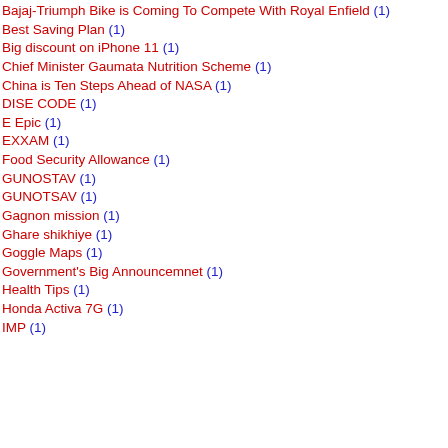Bajaj-Triumph Bike is Coming To Compete With Royal Enfield (1)
Best Saving Plan (1)
Big discount on iPhone 11 (1)
Chief Minister Gaumata Nutrition Scheme (1)
China is Ten Steps Ahead of NASA (1)
DISE CODE (1)
E Epic (1)
EXXAM (1)
Food Security Allowance (1)
GUNOSTAV (1)
GUNOTSAV (1)
Gagnon mission (1)
Ghare shikhiye (1)
Goggle Maps (1)
Government's Big Announcemnet (1)
Health Tips (1)
Honda Activa 7G (1)
IMP (1)